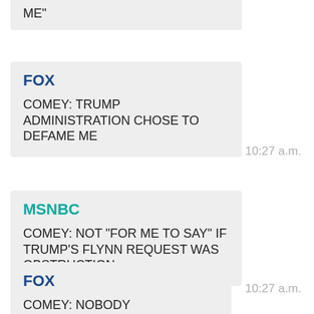ME"
FOX
COMEY: TRUMP ADMINISTRATION CHOSE TO DEFAME ME
10:27 a.m.
MSNBC
COMEY: NOT "FOR ME TO SAY" IF TRUMP'S FLYNN REQUEST WAS OBSTRUCTION
10:27 a.m.
FOX
COMEY: NOBODY ASKED ME TO STOP
10:27 a.m.